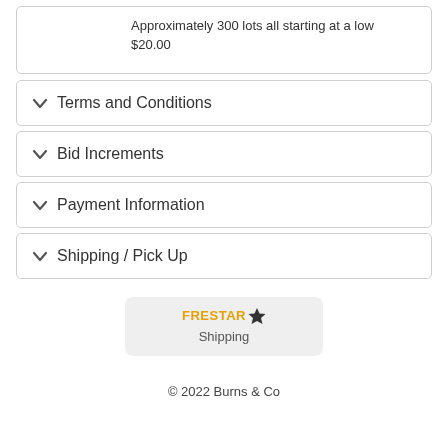Approximately 300 lots all starting at a low $20.00
Terms and Conditions
Bid Increments
Payment Information
Shipping / Pick Up
[Figure (logo): FRESTAR star logo with Shipping label below]
© 2022 Burns & Co